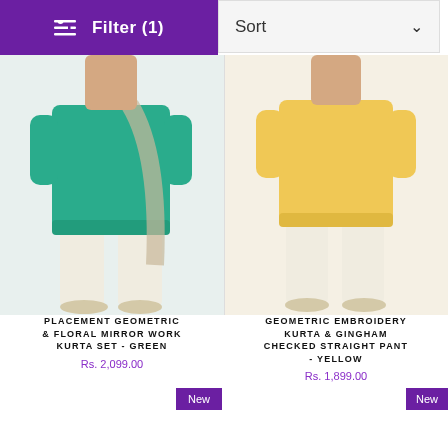[Figure (screenshot): E-commerce product listing page showing filter/sort controls and two clothing products]
Filter (1)
Sort
[Figure (photo): Woman wearing teal/green kurta set with cream pants and sandals]
[Figure (photo): Woman wearing yellow kurta with gingham checked straight pant and sandals]
PLACEMENT GEOMETRIC & FLORAL MIRROR WORK KURTA SET - GREEN
Rs. 2,099.00
GEOMETRIC EMBROIDERY KURTA & GINGHAM CHECKED STRAIGHT PANT - YELLOW
Rs. 1,899.00
New
New